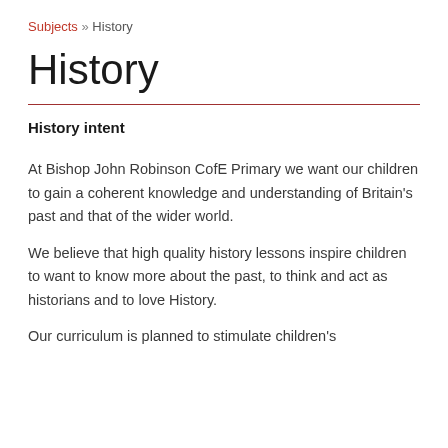Subjects » History
History
History intent
At Bishop John Robinson CofE Primary we want our children to gain a coherent knowledge and understanding of Britain's past and that of the wider world.
We believe that high quality history lessons inspire children to want to know more about the past, to think and act as historians and to love History.
Our curriculum is planned to stimulate children's